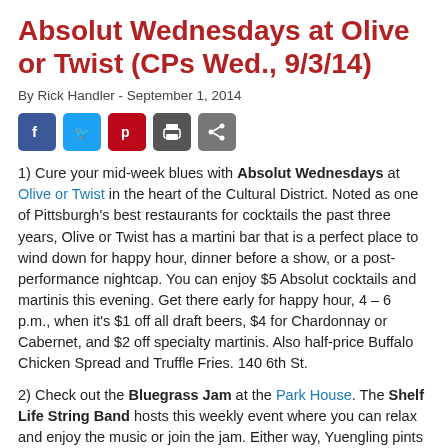Absolut Wednesdays at Olive or Twist (CPs Wed., 9/3/14)
By Rick Handler - September 1, 2014
[Figure (other): Social media sharing buttons: Facebook, Twitter, Pinterest, Print, Share]
1) Cure your mid-week blues with Absolut Wednesdays at Olive or Twist in the heart of the Cultural District. Noted as one of Pittsburgh's best restaurants for cocktails the past three years, Olive or Twist has a martini bar that is a perfect place to wind down for happy hour, dinner before a show, or a post-performance nightcap. You can enjoy $5 Absolut cocktails and martinis this evening. Get there early for happy hour, 4 – 6  p.m., when it's $1 off all draft beers, $4 for Chardonnay or Cabernet, and $2 off specialty martinis. Also half-price Buffalo Chicken Spread and Truffle Fries. 140 6th St.
2) Check out the Bluegrass Jam at the Park House. The Shelf Life String Band hosts this weekly event where you can relax and enjoy the music or join the jam. Either way, Yuengling pints are only $2 from 9 p.m. to midnight. Jam starts at 9 p.m. 403 E. Ohio St., North Side.